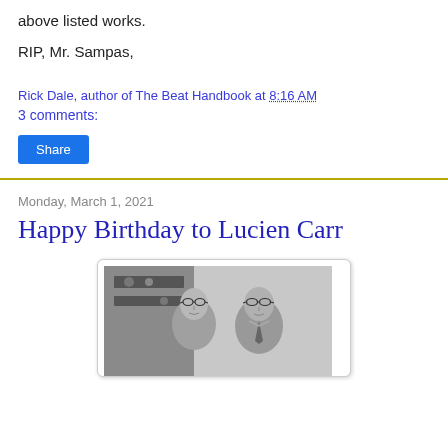above listed works.
RIP, Mr. Sampas,
Rick Dale, author of The Beat Handbook at 8:16 AM
3 comments:
Share
Monday, March 1, 2021
Happy Birthday to Lucien Carr
[Figure (photo): Black and white photograph of two men, one wearing glasses, in an indoor setting with shelves in the background.]